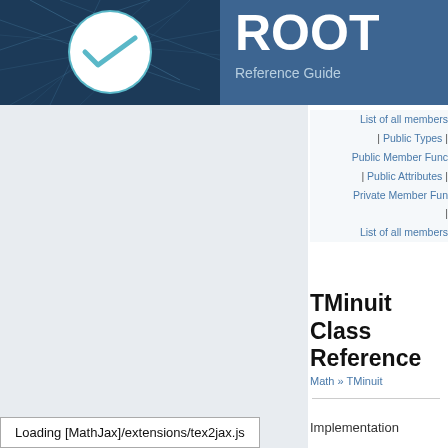[Figure (logo): ROOT framework logo with teal circle containing a checkmark/sqrt symbol on dark blue background with network pattern lines]
ROOT Reference Guide Version v6.22
List of all members | Public Types | Public Member Functions | Public Attributes | Private Member Functions | List of all members
TMinuit Class Reference
Math » TMinuit
Implementation
Loading [MathJax]/extensions/tex2jax.js